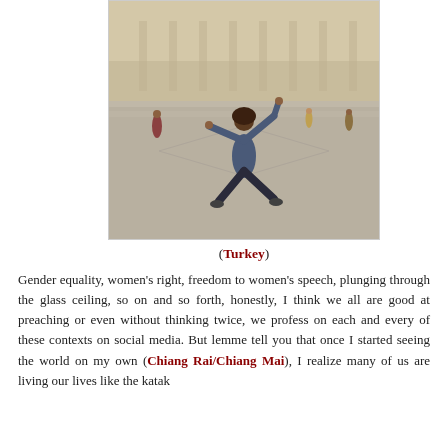[Figure (photo): A person jumping with arms and legs spread wide in a large open plaza in front of a monumental stone building (likely Anıtkabir, Ankara, Turkey). Other visitors are visible in the background.]
(Turkey)
Gender equality, women's right, freedom to women's speech, plunging through the glass ceiling, so on and so forth, honestly, I think we all are good at preaching or even without thinking twice, we profess on each and every of these contexts on social media. But lemme tell you that once I started seeing the world on my own (Chiang Rai/Chiang Mai), I realize many of us are living our lives like the katak